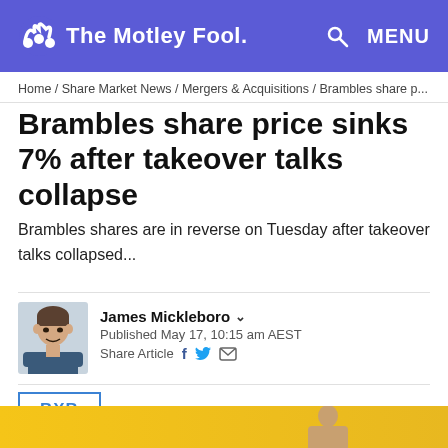The Motley Fool — MENU
Home / Share Market News / Mergers & Acquisitions / Brambles share p...
Brambles share price sinks 7% after takeover talks collapse
Brambles shares are in reverse on Tuesday after takeover talks collapsed...
[Figure (photo): Author headshot of James Mickleboro]
James Mickleboro
Published May 17, 10:15 am AEST
Share Article
BXB
[Figure (photo): Bottom banner with yellow background and person]